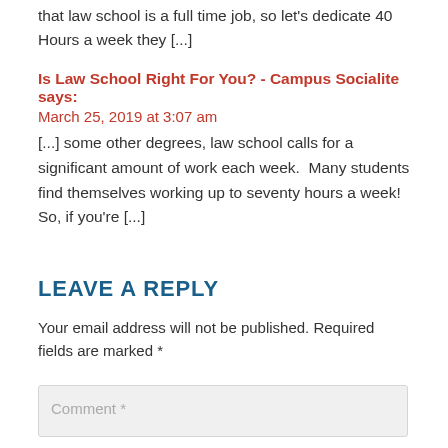that law school is a full time job, so let's dedicate 40 Hours a week they [...]
Is Law School Right For You? - Campus Socialite says:
March 25, 2019 at 3:07 am
[...] some other degrees, law school calls for a significant amount of work each week.  Many students find themselves working up to seventy hours a week!  So, if you're [...]
LEAVE A REPLY
Your email address will not be published. Required fields are marked *
Comment *